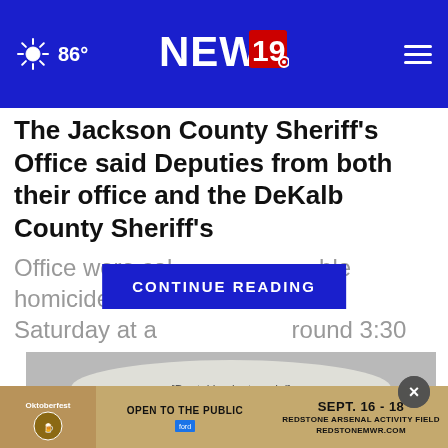86° NEWS 19
The Jackson County Sheriff's Office said Deputies from both their office and the DeKalb County Sheriff's Office were cal... ble homicide Saturday at a... around 3:30
CONTINUE READING
[Figure (photo): Transparent dental implant model showing teeth and metal implant posts]
[Figure (photo): Oktoberfest advertisement banner: Open to the Public, Sept. 16-18, Redstone Arsenal Activity Field, RedstoneMWR.com]